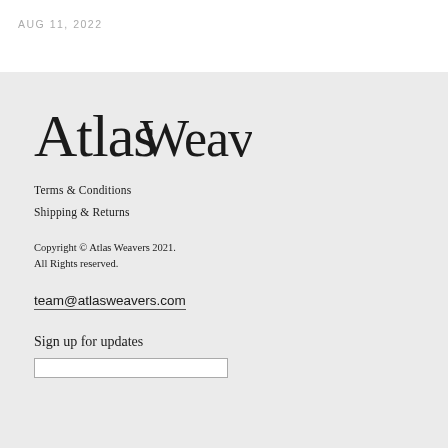AUG 11, 2022
Atlas Weavers
Terms & Conditions
Shipping & Returns
Copyright © Atlas Weavers 2021. All Rights reserved.
team@atlasweavers.com
Sign up for updates